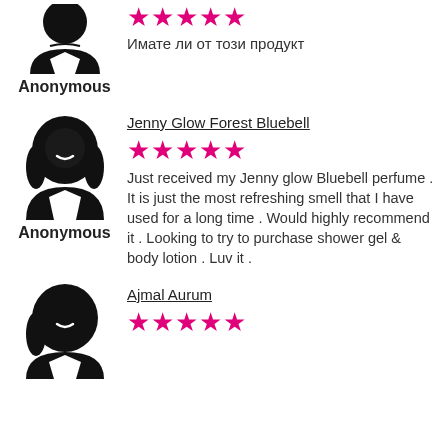[Figure (illustration): Female silhouette avatar icon, black]
★★★★★
Имате ли от този продукт
Anonymous
[Figure (illustration): Female silhouette avatar icon with hair, black]
Jenny Glow Forest Bluebell
★★★★★
Just received my Jenny glow Bluebell perfume . It is just the most refreshing smell that I have used for a long time . Would highly recommend it . Looking to try to purchase shower gel & body lotion . Luv it .
Anonymous
[Figure (illustration): Female silhouette avatar icon with hair, black]
Ajmal Aurum
★★★★★